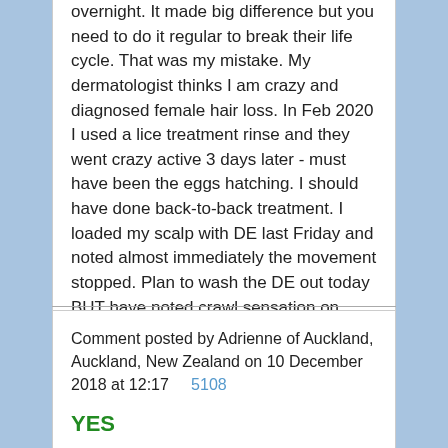overnight. It made big difference but you need to do it regular to break their life cycle. That was my mistake. My dermatologist thinks I am crazy and diagnosed female hair loss. In Feb 2020 I used a lice treatment rinse and they went crazy active 3 days later - must have been the eggs hatching. I should have done back-to-back treatment. I loaded my scalp with DE last Friday and noted almost immediately the movement stopped. Plan to wash the DE out today BUT have noted crawl sensation on ears, neck so maybe I am just moving them around.

What is the MSM product people are referring to? Thank you to all.
Comment posted by Adrienne of Auckland, Auckland, New Zealand on 10 December 2018 at 12:17     5108
YES